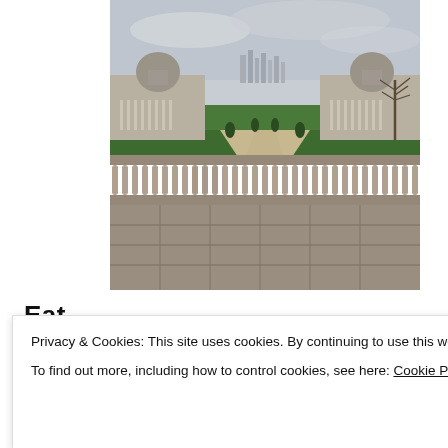[Figure (photo): Photo of the Old Royal Naval College in Greenwich, London, viewed from an elevated stone balustrade terrace. Two baroque domed buildings flank a central path leading to a green lawn. City skyscrapers (Canary Wharf) visible in the distance under a grey overcast sky. Bare winter trees on the right. Stone balustrade with balusters in foreground, and stone paved terrace floor at bottom.]
Eat
Privacy & Cookies: This site uses cookies. By continuing to use this website, you agree to their use.
To find out more, including how to control cookies, see here: Cookie Policy